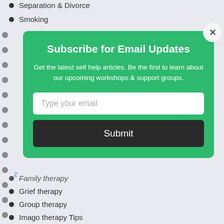Separation & Divorce
Smoking
[Figure (screenshot): Email subscription modal popup with green background. Contains title 'Subscribe for Email Updates', description text, email input field, and Submit button. Has close (X) button in top right corner.]
Family therapy
Grief therapy
Group therapy
Imago therapy Tips
Individual therapy
Online therapy
Physical Therapy Tips
Play Therapy Tips
premarital counseling
Sex therapy